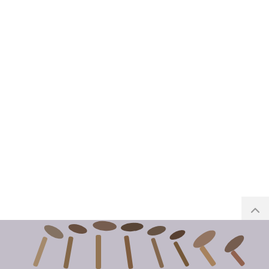FASHION & STYLE
LC Waikiki Kenya, Bullish on Accelerated Growth in 2022
July 29, 2022
[Figure (photo): Makeup brushes fanned out, partially visible at bottom of page]